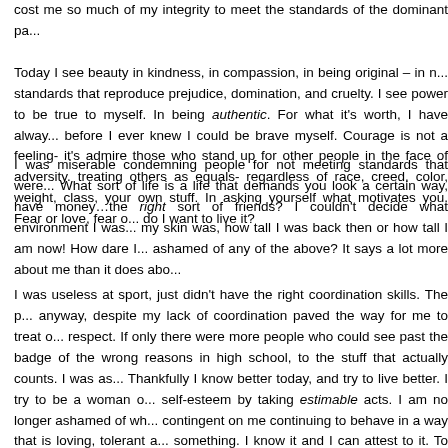cost me so much of my integrity to meet the standards of the dominant pa... Today I see beauty in kindness, in compassion, in being original – in n... standards that reproduce prejudice, domination, and cruelty. I see power to be true to myself. In being authentic. For what it's worth, I have alway... before I ever knew I could be brave myself. Courage is not a feeling- it's admire those who stand up for other people in the face of adversity. treating others as equals- regardless of race, creed, color, weight, class, your own stuff. In asking yourself what motivates you. Fear or love, fear o... do I want to live it?
I was miserable condemning people for not meeting standards that were... What sort of life is a life that demands you look a certain way, have money…the right sort of friends? I couldn't decide what environment I was... my skin was, how tall I was back then or how tall I am now! How dare I... ashamed of any of the above? It says a lot more about me than it does abo...
I was useless at sport, just didn't have the right coordination skills. The p... anyway, despite my lack of coordination paved the way for me to treat o... respect. If only there were more people who could see past the badge of the wrong reasons in high school, to the stuff that actually counts. I was as... Thankfully I know better today, and try to live better. I try to be a woman o... self-esteem by taking estimable acts. I am no longer ashamed of wh... contingent on me continuing to behave in a way that is loving, tolerant a... something. I know it and I can attest to it. To every...